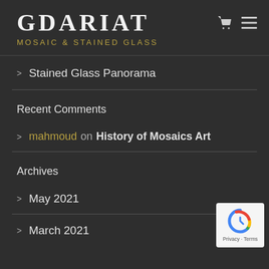GDARIAT MOSAIC & STAINED GLASS
Stained Glass Panorama
Recent Comments
mahmoud on History of Mosaics Art
Archives
May 2021
March 2021
[Figure (logo): reCAPTCHA badge with Privacy and Terms text]